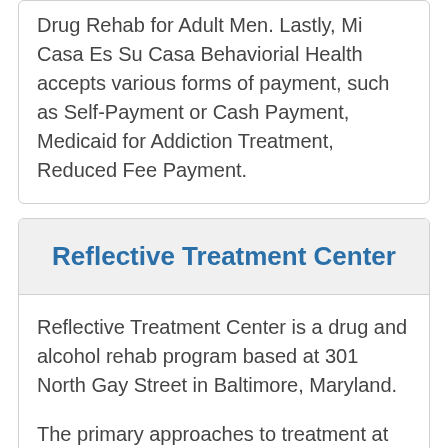Drug Rehab for Adult Men. Lastly, Mi Casa Es Su Casa Behaviorial Health accepts various forms of payment, such as Self-Payment or Cash Payment, Medicaid for Addiction Treatment, Reduced Fee Payment.
Reflective Treatment Center
Reflective Treatment Center is a drug and alcohol rehab program based at 301 North Gay Street in Baltimore, Maryland.
The primary approaches to treatment at this facility include Behavioral Therapy, Relapse Risk Reduction, 12-Step Support Group